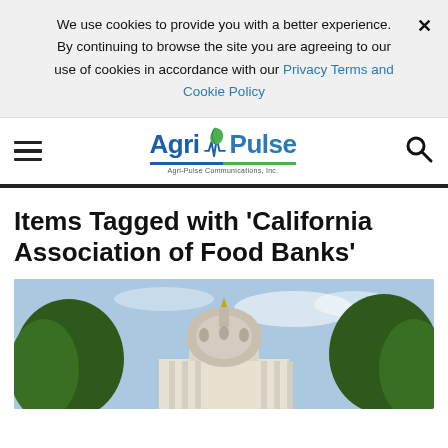We use cookies to provide you with a better experience. × By continuing to browse the site you are agreeing to our use of cookies in accordance with our Privacy Terms and Cookie Policy
[Figure (logo): Agri-Pulse logo with leaf/pulse graphic, blue text, and tagline 'Agri-Pulse Communications, Inc.']
Items Tagged with 'California Association of Food Banks'
[Figure (photo): Photo of the California State Capitol building dome with trees in the foreground against a blue sky with light clouds]